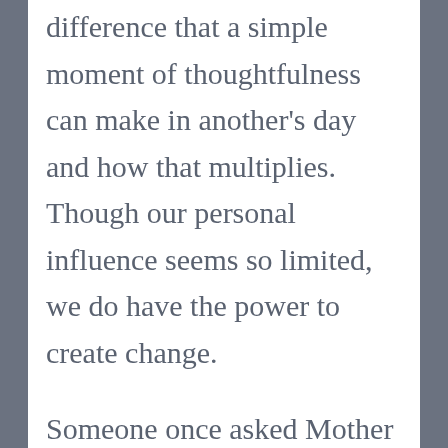difference that a simple moment of thoughtfulness can make in another's day and how that multiplies. Though our personal influence seems so limited, we do have the power to create change.
Someone once asked Mother Teresa how she could really expect to save everyone who was in a state of desperation. Her simple